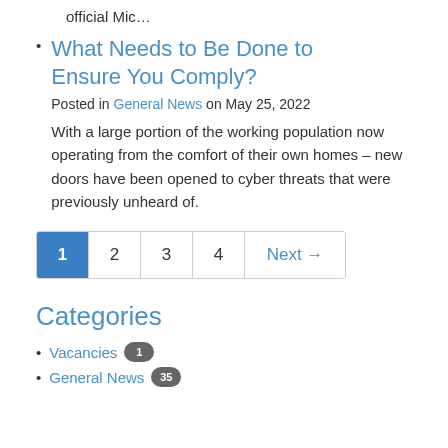official Mic…
What Needs to Be Done to Ensure You Comply?
Posted in General News on May 25, 2022
With a large portion of the working population now operating from the comfort of their own homes – new doors have been opened to cyber threats that were previously unheard of.
Categories
Vacancies 1
General News 35